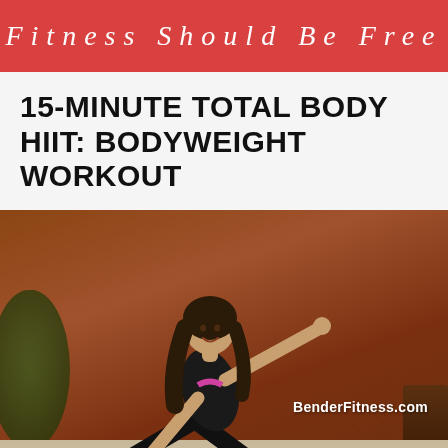Fitness Should Be Free
15-MINUTE TOTAL BODY HIIT: BODYWEIGHT WORKOUT
[Figure (photo): Woman in athletic wear performing a lunge/plank position exercise on a pink yoga mat. She is wearing black workout clothes and pink sneakers, smiling at the camera with one arm extended to the side. Background shows a brown wall and wood furniture. Watermark reads BenderFitness.com]